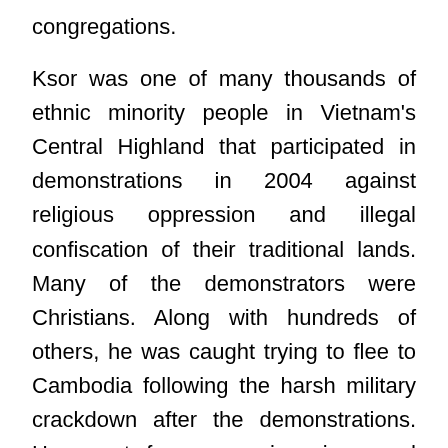congregations.
Ksor was one of many thousands of ethnic minority people in Vietnam's Central Highland that participated in demonstrations in 2004 against religious oppression and illegal confiscation of their traditional lands. Many of the demonstrators were Christians. Along with hundreds of others, he was caught trying to flee to Cambodia following the harsh military crackdown after the demonstrations. He spent four years in prison and another year under house arrest.
In May of 2009, Ksor joined the VGNM, a house church network that has grown from 14 congregations meeting in homes in 2007 to 360 today. In spite of many attempts to register house churches, as provided by Vietnam's religion regulations, only three congregations have been given